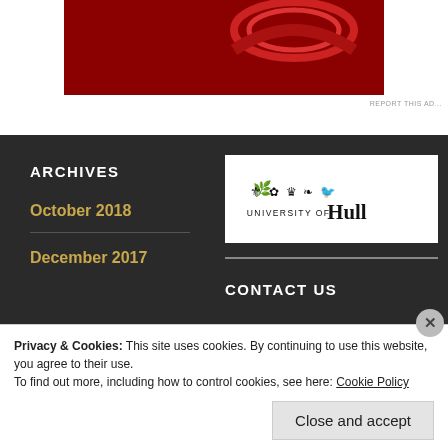[Figure (photo): Red advertisement image with dark red background and partial product visible at top]
REPORT THIS AD...
ARCHIVES
October 2018
December 2017
[Figure (logo): University of Hull logo with heraldic symbols and text]
CONTACT US
Privacy & Cookies: This site uses cookies. By continuing to use this website, you agree to their use.
To find out more, including how to control cookies, see here: Cookie Policy
Close and accept